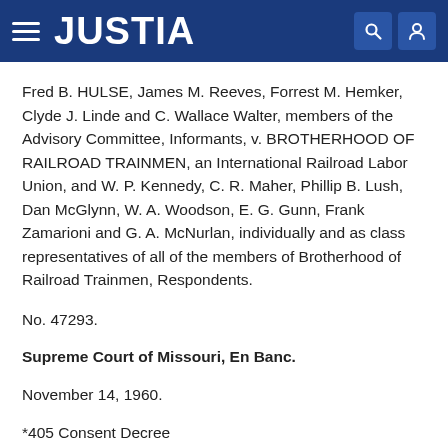JUSTIA
Fred B. HULSE, James M. Reeves, Forrest M. Hemker, Clyde J. Linde and C. Wallace Walter, members of the Advisory Committee, Informants, v. BROTHERHOOD OF RAILROAD TRAINMEN, an International Railroad Labor Union, and W. P. Kennedy, C. R. Maher, Phillip B. Lush, Dan McGlynn, W. A. Woodson, E. G. Gunn, Frank Zamarioni and G. A. McNurlan, individually and as class representatives of all of the members of Brotherhood of Railroad Trainmen, Respondents.
No. 47293.
Supreme Court of Missouri, En Banc.
November 14, 1960.
*405 Consent Decree